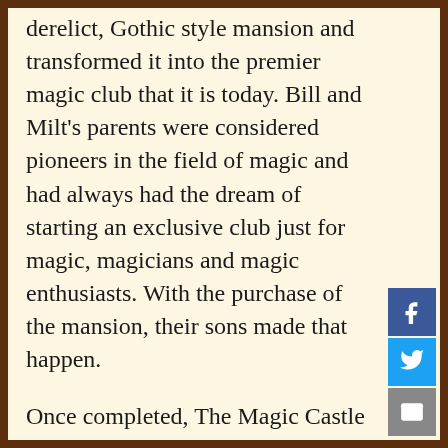derelict, Gothic style mansion and transformed it into the premier magic club that it is today. Bill and Milt's parents were considered pioneers in the field of magic and had always had the dream of starting an exclusive club just for magic, magicians and magic enthusiasts. With the purchase of the mansion, their sons made that happen.
Once completed, The Magic Castle became the magic hot spot. With members-only criteria, some great magicians were attracted along with Hollywood's big names. It wasn't uncommon to see stars and starlets frequenting the establishment, taking in a show and having a drink. Today